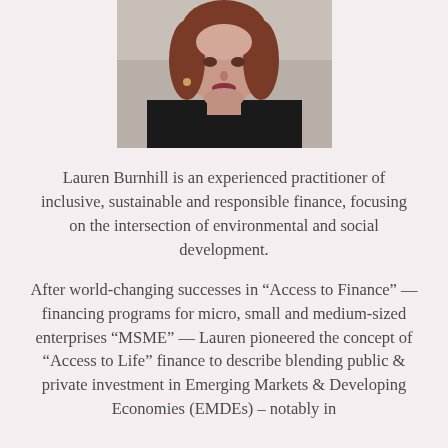[Figure (photo): Headshot photo of Lauren Burnhill, a woman with red hair wearing a black top]
Lauren Burnhill is an experienced practitioner of inclusive, sustainable and responsible finance, focusing on the intersection of environmental and social development.
After world-changing successes in “Access to Finance” — financing programs for micro, small and medium-sized enterprises “MSME” — Lauren pioneered the concept of “Access to Life” finance to describe blending public & private investment in Emerging Markets & Developing Economies (EMDEs) – notably in Africa and Asia from the Sub-Saharan and